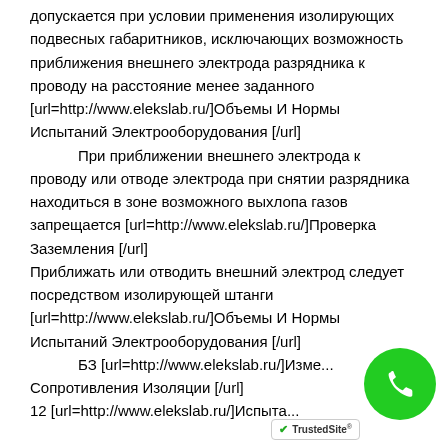допускается при условии применения изолирующих подвесных габаритников, исключающих возможность приближения внешнего электрода разрядника к проводу на расстояние менее заданного [url=http://www.elekslab.ru/]Объемы И Нормы Испытаний Электрооборудования [/url]
        При приближении внешнего электрода к проводу или отводе электрода при снятии разрядника находиться в зоне возможного выхлопа газов запрещается [url=http://www.elekslab.ru/]Проверка Заземления [/url]
Приближать или отводить внешний электрод следует посредством изолирующей штанги [url=http://www.elekslab.ru/]Объемы И Нормы Испытаний Электрооборудования [/url]
        БЗ [url=http://www.elekslab.ru/]Изме... Сопротивления Изоляции [/url]
12 [url=http://www.elekslab.ru/]Испыта...